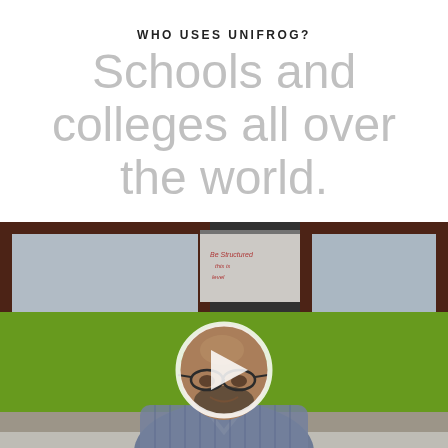WHO USES UNIFROG?
Schools and colleges all over the world.
[Figure (photo): Video thumbnail showing a bald man with glasses and beard seated in a classroom with a green wall and whiteboard behind him. A circular play button overlay is centered on the image. A 'unifrog' watermark appears in the bottom right corner.]